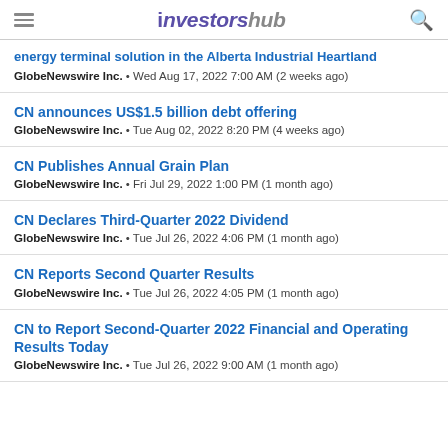investorshub
energy terminal solution in the Alberta Industrial Heartland
GlobeNewswire Inc. • Wed Aug 17, 2022 7:00 AM (2 weeks ago)
CN announces US$1.5 billion debt offering
GlobeNewswire Inc. • Tue Aug 02, 2022 8:20 PM (4 weeks ago)
CN Publishes Annual Grain Plan
GlobeNewswire Inc. • Fri Jul 29, 2022 1:00 PM (1 month ago)
CN Declares Third-Quarter 2022 Dividend
GlobeNewswire Inc. • Tue Jul 26, 2022 4:06 PM (1 month ago)
CN Reports Second Quarter Results
GlobeNewswire Inc. • Tue Jul 26, 2022 4:05 PM (1 month ago)
CN to Report Second-Quarter 2022 Financial and Operating Results Today
GlobeNewswire Inc. • Tue Jul 26, 2022 9:00 AM (1 month ago)